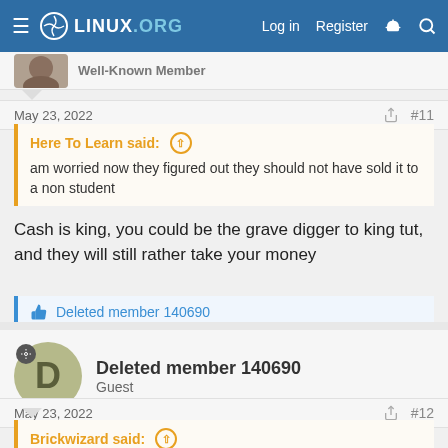LINUX.ORG — Log in | Register
Well-Known Member
May 23, 2022  #11
Here To Learn said: am worried now they figured out they should not have sold it to a non student
Cash is king, you could be the grave digger to king tut, and they will still rather take your money
Deleted member 140690
Deleted member 140690 — Guest
May 23, 2022  #12
Brickwizard said: